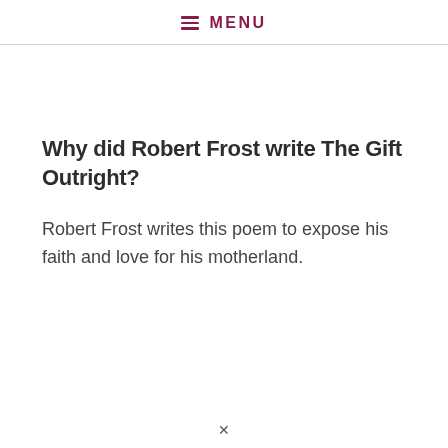≡ MENU
Why did Robert Frost write The Gift Outright?
Robert Frost writes this poem to expose his faith and love for his motherland.